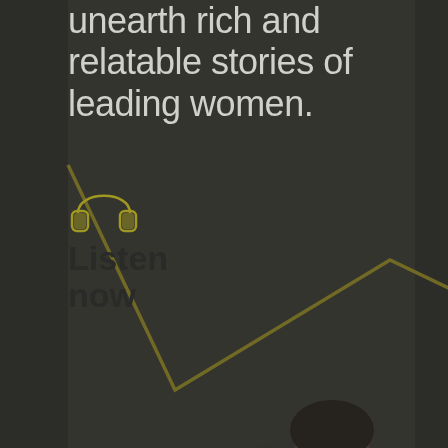[Figure (photo): Background photo of two women in a meeting/interview setting, dark overlay. One woman seated wearing navy dress, another standing in gray blazer. Yellow geometric line design overlaid on background.]
unearth rich and relatable stories of leading women.
[Figure (illustration): Headphone icon in olive/yellow-green color outline style]
Listen now